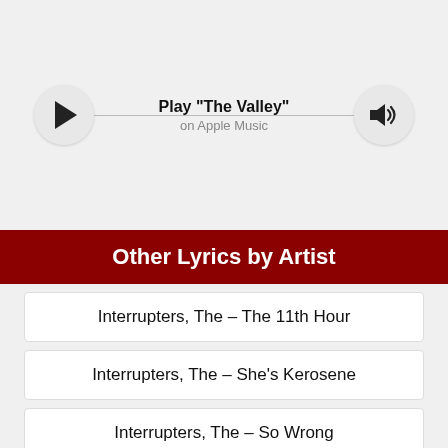[Figure (other): Music player widget with play button, speaker/volume button, and text 'Play "The Valley"' on Apple Music]
Other Lyrics by Artist
Interrupters, The – The 11th Hour
Interrupters, The – She's Kerosene
Interrupters, The – So Wrong
Interrupters, The – Title Holder
Interrupters, The – Judgement Day